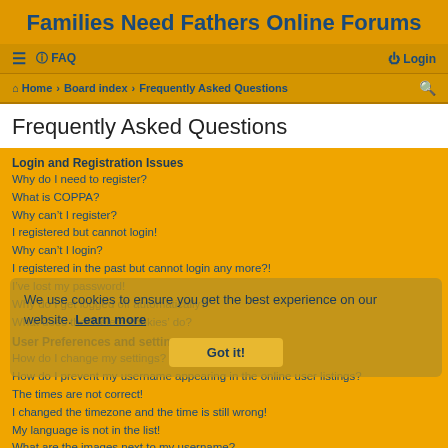Families Need Fathers Online Forums
≡  FAQ  Login
Home · Board index · Frequently Asked Questions
Frequently Asked Questions
Login and Registration Issues
Why do I need to register?
What is COPPA?
Why can't I register?
I registered but cannot login!
Why can't I login?
I registered in the past but cannot login any more?!
I've lost my password!
Why do I get logged off automatically?
What does the 'Delete cookies' do?
User Preferences and settings
How do I change my settings?
How do I prevent my username appearing in the online user listings?
The times are not correct!
I changed the timezone and the time is still wrong!
My language is not in the list!
What are the images next to my username?
We use cookies to ensure you get the best experience on our website. Learn more